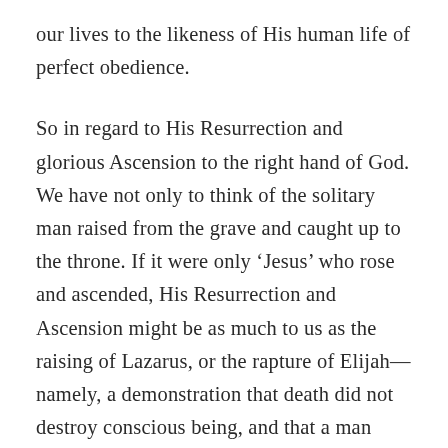our lives to the likeness of His human life of perfect obedience.
So in regard to His Resurrection and glorious Ascension to the right hand of God. We have not only to think of the solitary man raised from the grave and caught up to the throne. If it were only ‘Jesus’ who rose and ascended, His Resurrection and Ascension might be as much to us as the raising of Lazarus, or the rapture of Elijah—namely, a demonstration that death did not destroy conscious being, and that a man could rise to heaven; but they would be no more. But if “Christ is risen from the dead,” He is “become the first-fruits of them that slept.” If Jesus alone rose and his death the